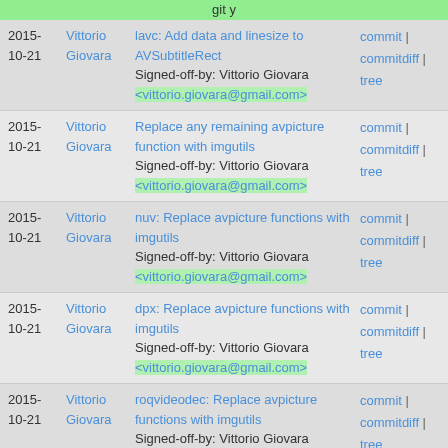2015-10-21 | Vittorio Giovara | lavc: Add data and linesize to AVSubtitleRect | Signed-off-by: Vittorio Giovara <vittorio.giovara@gmail.com> | commit | commitdiff | tree
2015-10-21 | Vittorio Giovara | Replace any remaining avpicture function with imgutils | Signed-off-by: Vittorio Giovara <vittorio.giovara@gmail.com> | commit | commitdiff | tree
2015-10-21 | Vittorio Giovara | nuv: Replace avpicture functions with imgutils | Signed-off-by: Vittorio Giovara <vittorio.giovara@gmail.com> | commit | commitdiff | tree
2015-10-21 | Vittorio Giovara | dpx: Replace avpicture functions with imgutils | Signed-off-by: Vittorio Giovara <vittorio.giovara@gmail.com> | commit | commitdiff | tree
2015-10-21 | Vittorio Giovara | roqvideodec: Replace avpicture functions with imgutils | Signed-off-by: Vittorio Giovara <vittorio.giovara@gmail.com> | commit | commitdiff | tree
2015- | Vittorio Giovara | msrle: Use AVFrame instead of ... | commit |